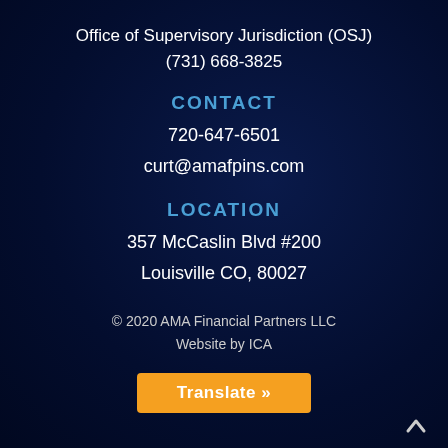Office of Supervisory Jurisdiction (OSJ)
(731) 668-3825
CONTACT
720-647-6501
curt@amafpins.com
LOCATION
357 McCaslin Blvd #200
Louisville CO, 80027
© 2020 AMA Financial Partners LLC
Website by ICA